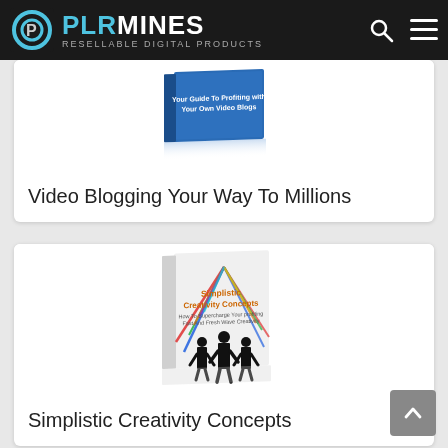PLRMINES - RESELLABLE DIGITAL PRODUCTS
[Figure (illustration): Book cover for 'Video Blogging Your Way To Millions' - a blue book with title text, partially visible at top of card]
Video Blogging Your Way To Millions
[Figure (illustration): Book cover for 'Simplistic Creativity Concepts' - white book with colorful lines and silhouettes of three businessmen]
Simplistic Creativity Concepts